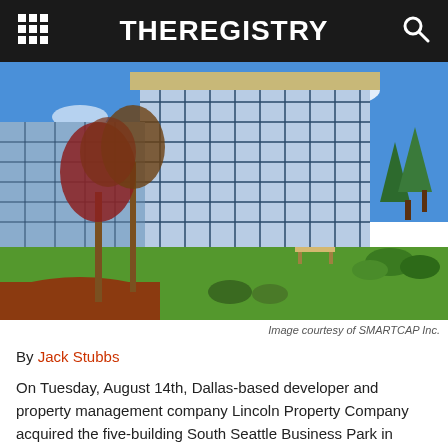THEREGISTRY
[Figure (photo): Exterior photo of a glass-facade commercial office building with green lawn and trees in front, clear blue sky. Image courtesy of SMARTCAP Inc.]
Image courtesy of SMARTCAP Inc.
By Jack Stubbs
On Tuesday, August 14th, Dallas-based developer and property management company Lincoln Property Company acquired the five-building South Seattle Business Park in Seattle's Georgetown